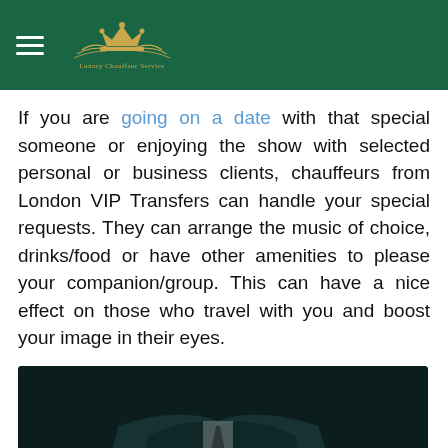Luxury Chauffeur Service
If you are going on a date with that special someone or enjoying the show with selected personal or business clients, chauffeurs from London VIP Transfers can handle your special requests. They can arrange the music of choice, drinks/food or have other amenities to please your companion/group. This can have a nice effect on those who travel with you and boost your image in their eyes.
[Figure (photo): Person in dark suit adjusting cufflinks with a watch visible on wrist. WhatsApp button overlay on bottom right.]